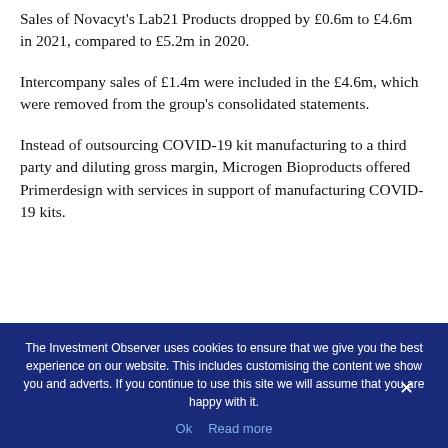Sales of Novacyt's Lab21 Products dropped by £0.6m to £4.6m in 2021, compared to £5.2m in 2020.
Intercompany sales of £1.4m were included in the £4.6m, which were removed from the group's consolidated statements.
Instead of outsourcing COVID-19 kit manufacturing to a third party and diluting gross margin, Microgen Bioproducts offered Primerdesign with services in support of manufacturing COVID-19 kits.
The Investment Observer uses cookies to ensure that we give you the best experience on our website. This includes customising the content we show you and adverts. If you continue to use this site we will assume that you are happy with it.
Ok   Read more